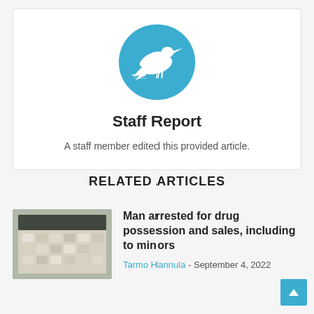[Figure (logo): Blue circle logo with white bird (heron/crane) silhouette flying]
Staff Report
A staff member edited this provided article.
RELATED ARTICLES
[Figure (photo): Photo of drugs/pills laid out on a table]
Man arrested for drug possession and sales, including to minors
Tarmo Hannula - September 4, 2022